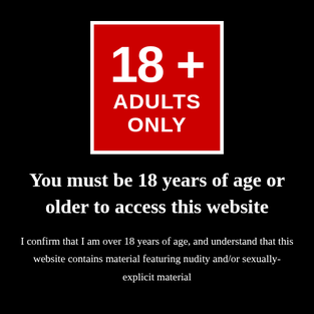[Figure (illustration): Red square badge with white border displaying '18+' in large bold text and 'ADULTS ONLY' below it in bold uppercase text on a red background]
You must be 18 years of age or older to access this website
I confirm that I am over 18 years of age, and understand that this website contains material featuring nudity and/or sexually-explicit material